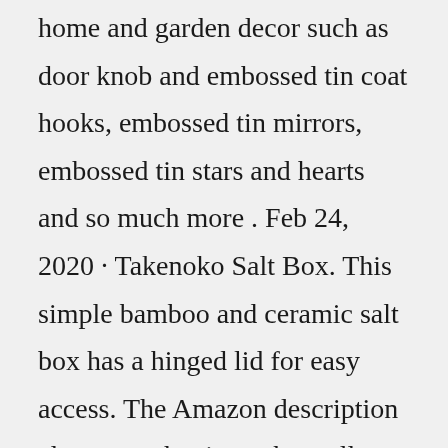home and garden decor such as door knob and embossed tin coat hooks, embossed tin mirrors, embossed tin stars and hearts and so much more . Feb 24, 2020 · Takenoko Salt Box. This simple bamboo and ceramic salt box has a hinged lid for easy access. The Amazon description also notes that it can be wall mounted, which seems pretty weird to me, but if ... Australian-owned, The Salt Box has the country's largest range of 100% naturally sourced salt. All food salts